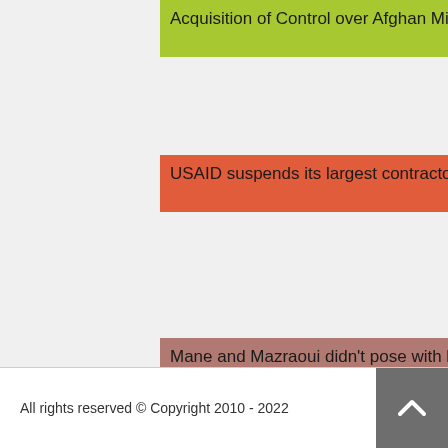Acquisition of Control over Afghan Military Aircraft in Tajikistan and Uzbekistan
2 comments
USAID suspends its largest contractor (IRD) in Afghanistan and Iraq
2 comments
Mane and Mazraoui didn't pose with beer due to his religious beliefs
1 comments
Manchester United agree £85m deal to sign Antony from Ajax
1 comments
All rights reserved © Copyright 2010 - 2022